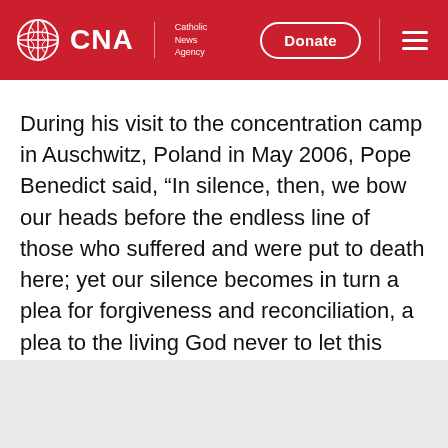CNA Catholic News Agency
During his visit to the concentration camp in Auschwitz, Poland in May 2006, Pope Benedict said, “In silence, then, we bow our heads before the endless line of those who suffered and were put to death here; yet our silence becomes in turn a plea for forgiveness and reconciliation, a plea to the living God never to let this happen again.”